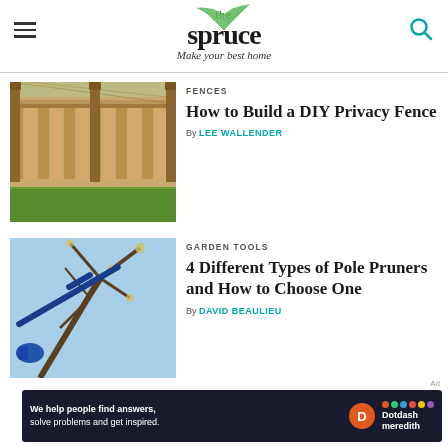[Figure (logo): The Spruce logo with tagline 'Make your best home' and leaf decoration]
[Figure (photo): Wooden privacy fence with lattice top on green lawn]
FENCES
How to Build a DIY Privacy Fence
By LEE WALLENDER
[Figure (photo): Person using pole pruner to trim tree branches against blue sky]
GARDEN TOOLS
4 Different Types of Pole Pruners and How to Choose One
By DAVID BEAULIEU
[Figure (other): Dotdash Meredith advertisement banner: We help people find answers, solve problems and get inspired.]